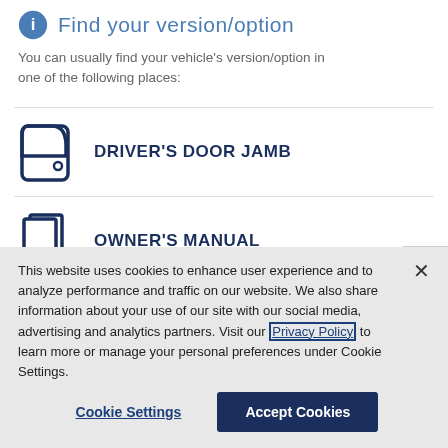Find your version/option
You can usually find your vehicle's version/option in one of the following places:
DRIVER'S DOOR JAMB
OWNER'S MANUAL
This website uses cookies to enhance user experience and to analyze performance and traffic on our website. We also share information about your use of our site with our social media, advertising and analytics partners. Visit our Privacy Policy to learn more or manage your personal preferences under Cookie Settings.